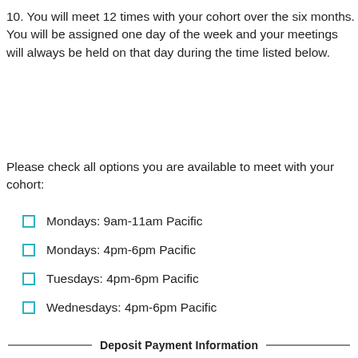10. You will meet 12 times with your cohort over the six months. You will be assigned one day of the week and your meetings will always be held on that day during the time listed below.
Please check all options you are available to meet with your cohort:
Mondays: 9am-11am Pacific
Mondays: 4pm-6pm Pacific
Tuesdays: 4pm-6pm Pacific
Wednesdays: 4pm-6pm Pacific
Deposit Payment Information